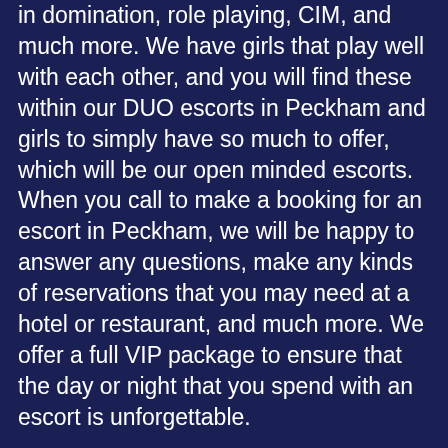in domination, role playing, CIM, and much more. We have girls that play well with each other, and you will find these within our DUO escorts in Peckham and girls to simply have so much to offer, which will be our open minded escorts.
When you call to make a booking for an escort in Peckham, we will be happy to answer any questions, make any kinds of reservations that you may need at a hotel or restaurant, and much more. We offer a full VIP package to ensure that the day or night that you spend with an escort is unforgettable.
[Figure (illustration): A teal/dark cyan semicircle shape visible at the bottom center of the page]